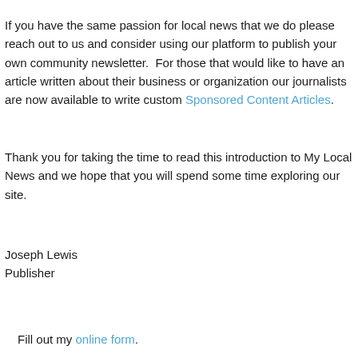If you have the same passion for local news that we do please reach out to us and consider using our platform to publish your own community newsletter.  For those that would like to have an article written about their business or organization our journalists are now available to write custom Sponsored Content Articles.
Thank you for taking the time to read this introduction to My Local News and we hope that you will spend some time exploring our site.
Joseph Lewis
Publisher
Fill out my online form.